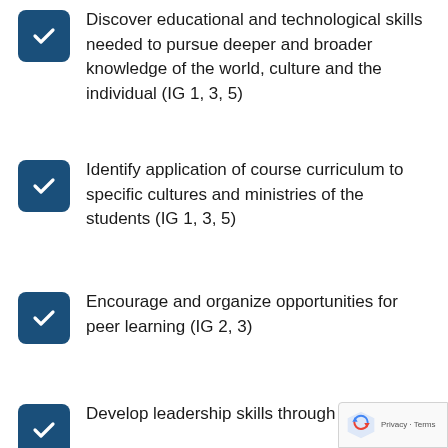Discover educational and technological skills needed to pursue deeper and broader knowledge of the world, culture and the individual (IG 1, 3, 5)
Identify application of course curriculum to specific cultures and ministries of the students (IG 1, 3, 5)
Encourage and organize opportunities for peer learning (IG 2, 3)
Develop leadership skills through